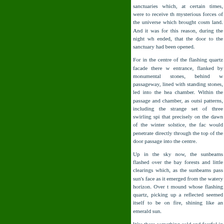sanctuaries which, at certain times, were to receive the mysterious forces of the universe which brought cosm land. And it was for this reason, during the night wh ended, that the door to the sanctuary had been opened.

For in the centre of the flashing quartz facade there w entrance, flanked by monumental stones, behind w passageway, lined with standing stones, led into the hea chamber. Within the passage and chamber, as outsi patterns, including the strange set of three swirling spi that precisely on the dawn of the winter solstice, the fac would penetrate directly through the top of the door passage into the centre.

Up in the sky now, the sunbeams flashed over the bay forests and little clearings which, as the sunbeams pass sun's face as it emerged from the watery horizon. Over f mound whose flashing quartz, picking up a reflected seemed itself to be on fire, shining like an emerald sun.

Was there something cold and fearful in that greenish gl into the dark passage of the mound? Perhaps.

But now a wonderful thing occurred. For such was the c sun gradually rose, the sun's beams, as though aband softly stole along the passage, no faster than a creepin the stones as they went, until they reached the triple cha once more, they flashed off the stones, dancing this way the midwinter tomb.